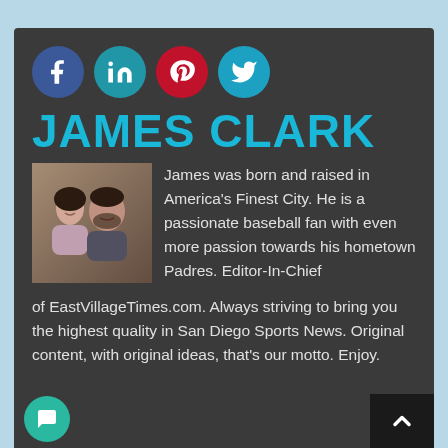[Figure (illustration): Social media share buttons: Facebook (blue), LinkedIn (teal), Pinterest (red), Twitter (light blue) as circular icon buttons]
JAMES CLARK
[Figure (photo): A couple selfie photo — a smiling woman and a bearded man]
James was born and raised in America's Finest City. He is a passionate baseball fan with even more passion towards his hometown Padres. Editor-In-Chief of EastVillageTimes.com. Always striving to bring you the highest quality in San Diego Sports News. Original content, with original ideas, that's our motto. Enjoy.